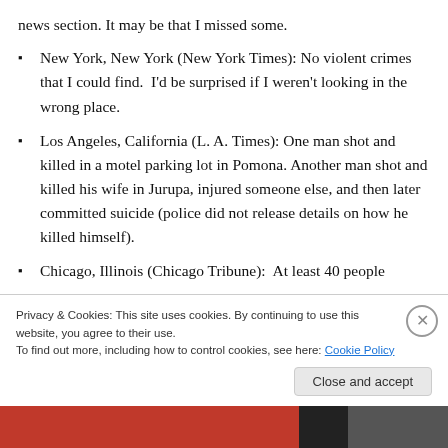news section. It may be that I missed some.
New York, New York (New York Times): No violent crimes that I could find.  I'd be surprised if I weren't looking in the wrong place.
Los Angeles, California (L. A. Times): One man shot and killed in a motel parking lot in Pomona. Another man shot and killed his wife in Jurupa, injured someone else, and then later committed suicide (police did not release details on how he killed himself).
Chicago, Illinois (Chicago Tribune):  At least 40 people
Privacy & Cookies: This site uses cookies. By continuing to use this website, you agree to their use.
To find out more, including how to control cookies, see here: Cookie Policy